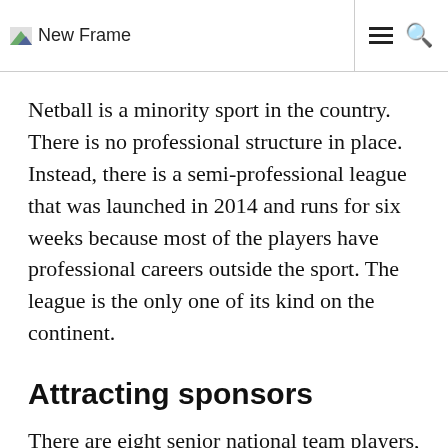New Frame
Netball is a minority sport in the country. There is no professional structure in place. Instead, there is a semi-professional league that was launched in 2014 and runs for six weeks because most of the players have professional careers outside the sport. The league is the only one of its kind on the continent.
Attracting sponsors
There are eight senior national team players,